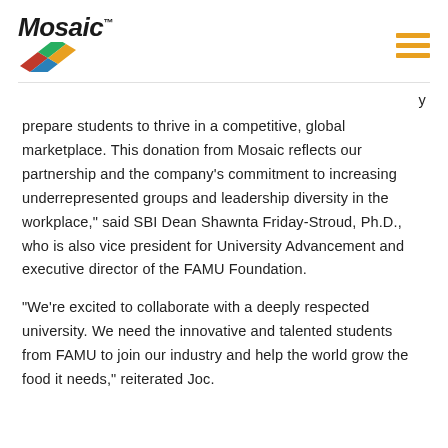[Figure (logo): Mosaic company logo with italic bold text and colorful tile graphic beneath]
prepare students to thrive in a competitive, global marketplace. This donation from Mosaic reflects our partnership and the company’s commitment to increasing underrepresented groups and leadership diversity in the workplace,” said SBI Dean Shawnta Friday-Stroud, Ph.D., who is also vice president for University Advancement and executive director of the FAMU Foundation.
“We’re excited to collaborate with a deeply respected university. We need the innovative and talented students from FAMU to join our industry and help the world grow the food it needs,” reiterated Joc.